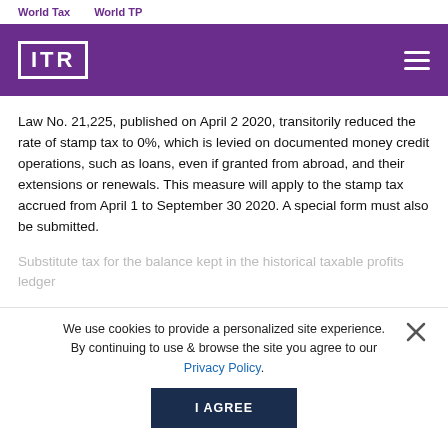World Tax    World TP
[Figure (logo): ITR logo in white on purple background with hamburger menu icon]
Law No. 21,225, published on April 2 2020, transitorily reduced the rate of stamp tax to 0%, which is levied on documented money credit operations, such as loans, even if granted from abroad, and their extensions or renewals. This measure will apply to the stamp tax accrued from April 1 to September 30 2020. A special form must also be submitted.
We use cookies to provide a personalized site experience. By continuing to use & browse the site you agree to our Privacy Policy.
Substitute tax for the balance kept in the historical taxable profits ledger